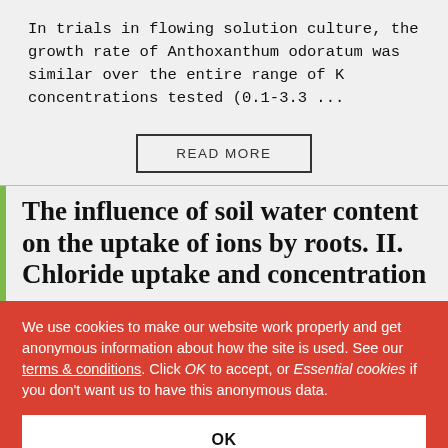In trials in flowing solution culture, the growth rate of Anthoxanthum odoratum was similar over the entire range of K concentrations tested (0.1-3.3 ...
READ MORE
The influence of soil water content on the uptake of ions by roots. II. Chloride uptake and concentration
We use cookies to make our website work properly and get anonymous information about how the site is used. See our terms & conditions. Click OK to accept, or Essential cookies if you don't want us to have this anonymous data.
OK
Essential cookies